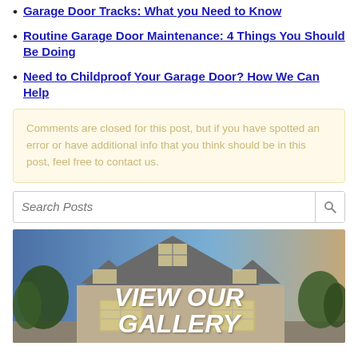Garage Door Tracks: What you Need to Know
Routine Garage Door Maintenance: 4 Things You Should Be Doing
Need to Childproof Your Garage Door? How We Can Help
Comments are closed for this post, but if you have spotted an error or have additional info that you think should be in this post, feel free to contact us.
Search Posts
[Figure (photo): House exterior with garage doors and overlay text reading VIEW OUR GALLERY]